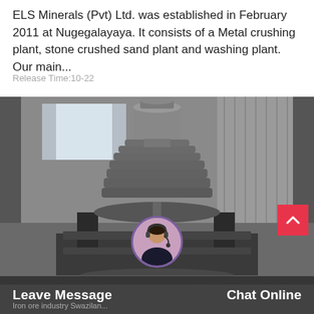ELS Minerals (Pvt) Ltd. was established in February 2011 at Nugegalayaya. It consists of a Metal crushing plant, stone crushed sand plant and washing plant. Our main...
Release Time:10-22
[Figure (photo): A large industrial cone crusher machine in a warehouse/factory setting. The machine is grey/silver with dark corrugated crushing elements and a red valve or fitting at the base. The background shows industrial corrugated metal walls and windows.]
Leave Message   Iron ore industry Swazilan...   Chat Online